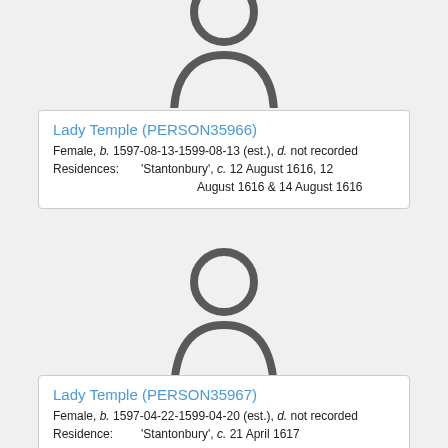[Figure (illustration): Generic person/user silhouette icon (grey outline), partially cropped at top]
Lady Temple (PERSON35966)
Female, b. 1597-08-13-1599-08-13 (est.), d. not recorded
Residences: 'Stantonbury', c. 12 August 1616, 12 August 1616 & 14 August 1616
[Figure (illustration): Generic person/user silhouette icon (grey outline)]
Lady Temple (PERSON35967)
Female, b. 1597-04-22-1599-04-20 (est.), d. not recorded
Residence: 'Stantonbury', c. 21 April 1617